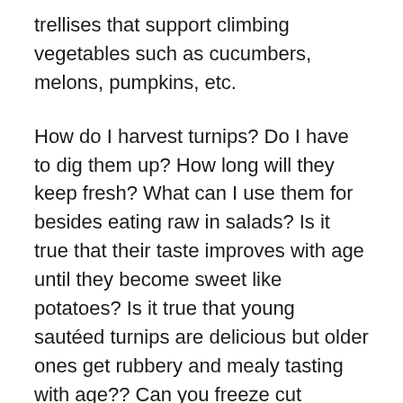trellises that support climbing vegetables such as cucumbers, melons, pumpkins, etc.
How do I harvest turnips? Do I have to dig them up? How long will they keep fresh? What can I use them for besides eating raw in salads? Is it true that their taste improves with age until they become sweet like potatoes? Is it true that young sautéed turnips are delicious but older ones get rubbery and mealy tasting with age?? Can you freeze cut flowers made from turnip flowers for bouquets? Couldn't this give rise to an interesting new industry among small farmers who produce these “flowers”? Thank you again! A: You don’t have to dig up